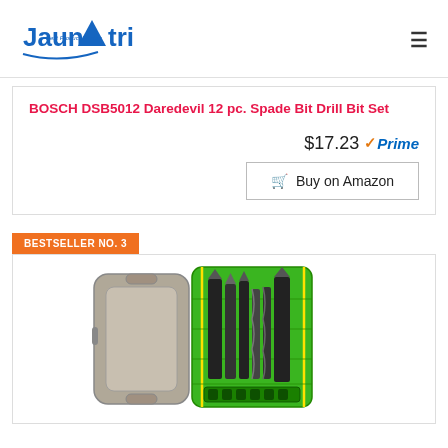Jaunatri - Best Product Review
BOSCH DSB5012 Daredevil 12 pc. Spade Bit Drill Bit Set
$17.23 Prime
Buy on Amazon
BESTSELLER NO. 3
[Figure (photo): Photo of a drill bit set in a case — gray plastic case on left, green insert with multiple drill bits on right]